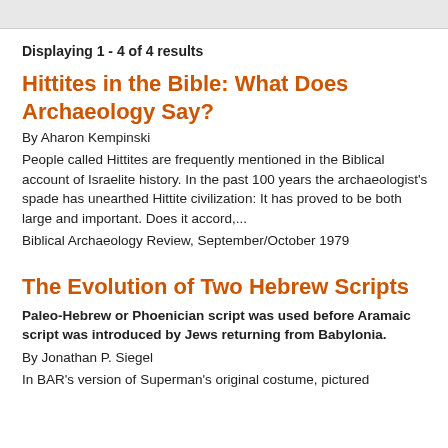Displaying 1 - 4 of 4 results
Hittites in the Bible: What Does Archaeology Say?
By Aharon Kempinski
People called Hittites are frequently mentioned in the Biblical account of Israelite history. In the past 100 years the archaeologist's spade has unearthed Hittite civilization: It has proved to be both large and important. Does it accord,...
Biblical Archaeology Review, September/October 1979
The Evolution of Two Hebrew Scripts
Paleo-Hebrew or Phoenician script was used before Aramaic script was introduced by Jews returning from Babylonia.
By Jonathan P. Siegel
In BAR's version of Superman's original costume, pictured